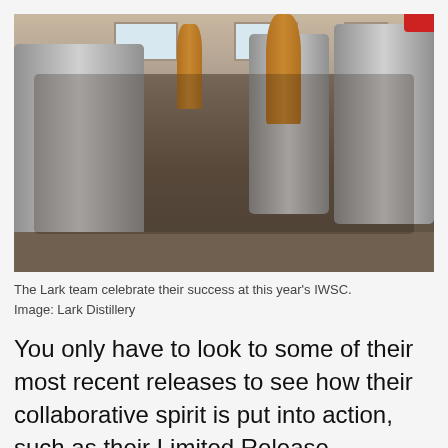[Figure (photo): Group photo of the Lark Distillery team celebrating inside a distillery, surrounded by copper pot stills and large stainless steel tanks. The team of approximately 25 people are posed together, some standing and some crouching/kneeling in the foreground.]
The Lark team celebrate their success at this year's IWSC. Image: Lark Distillery
You only have to look to some of their most recent releases to see how their collaborative spirit is put into action, such as their Limited Release Christmas Cask. First, a local patisserie selects Tasmanian red